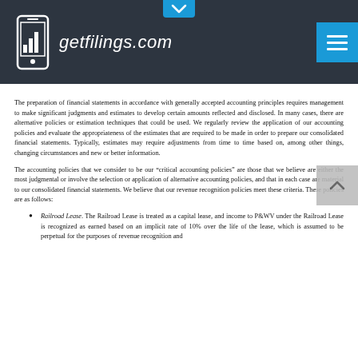getfilings.com
The preparation of financial statements in accordance with generally accepted accounting principles requires management to make significant judgments and estimates to develop certain amounts reflected and disclosed. In many cases, there are alternative policies or estimation techniques that could be used. We regularly review the application of our accounting policies and evaluate the appropriateness of the estimates that are required to be made in order to prepare our consolidated financial statements. Typically, estimates may require adjustments from time to time based on, among other things, changing circumstances and new or better information.
The accounting policies that we consider to be our “critical accounting policies” are those that we believe are either the most judgmental or involve the selection or application of alternative accounting policies, and that in each case are material to our consolidated financial statements. We believe that our revenue recognition policies meet these criteria. These policies are as follows:
Railroad Lease. The Railroad Lease is treated as a capital lease, and income to P&WV under the Railroad Lease is recognized as earned based on an implicit rate of 10% over the life of the lease, which is assumed to be perpetual for the purposes of revenue recognition and